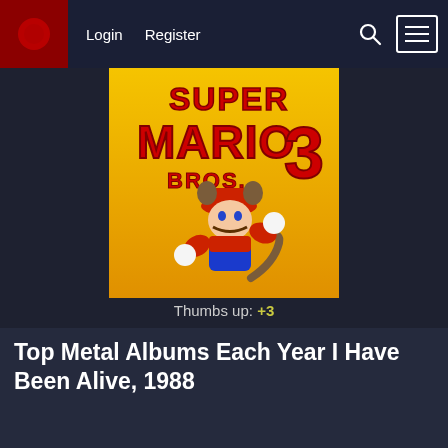Login   Register
[Figure (illustration): Super Mario Bros 3 album/game cover art on yellow background showing Mario in raccoon suit flying]
Thumbs up: +3
Top Metal Albums Each Year I Have Been Alive, 1988
A little list series where I list my top 20 favorite metal albums every year starting from the year I was born in.
Man this list was a rough one, but in a good way 1988 is one of the best years in metal history and a lot of great release came out that year, cutting it down to just 20 was tough and ranking them was even harder.